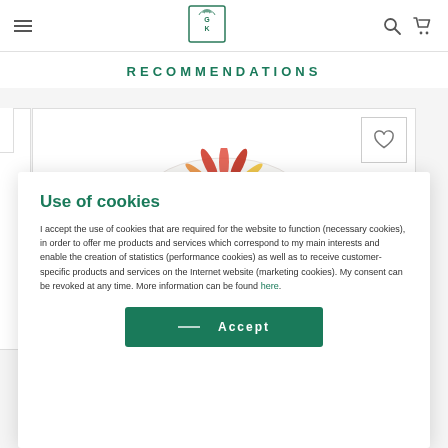Navigation bar with hamburger menu, logo (GK), search icon, cart icon
RECOMMENDATIONS
[Figure (screenshot): Partial product card showing a decorative plate with red and yellow flower petal design, partially visible behind cookie consent modal]
Use of cookies
I accept the use of cookies that are required for the website to function (necessary cookies), in order to offer me products and services which correspond to my main interests and enable the creation of statistics (performance cookies) as well as to receive customer-specific products and services on the Internet website (marketing cookies). My consent can be revoked at any time. More information can be found here.
Accept